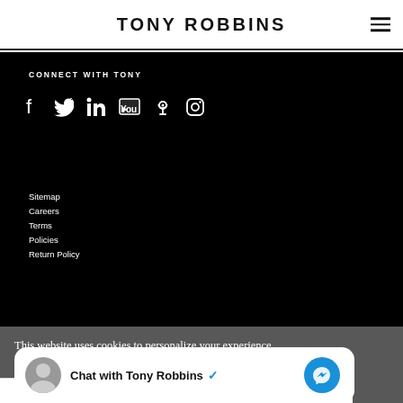TONY ROBBINS
CONNECT WITH TONY
[Figure (other): Social media icons: Facebook, Twitter, LinkedIn, YouTube, Podcast, Instagram]
Sitemap
Careers
Terms
Policies
Return Policy
This website uses cookies to personalize your experience and
Chat with Tony Robbins ✓
[Figure (other): Share bar with Facebook, LinkedIn, Twitter, and Email icons]